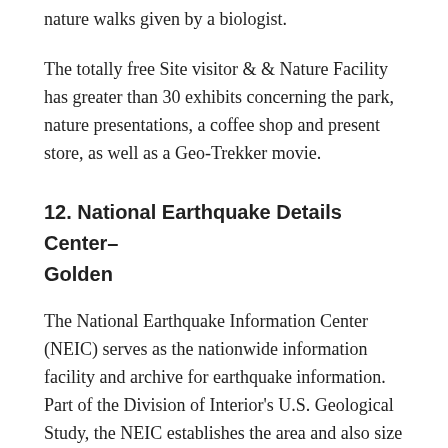nature walks given by a biologist.
The totally free Site visitor & & Nature Facility has greater than 30 exhibits concerning the park, nature presentations, a coffee shop and present store, as well as a Geo-Trekker movie.
12. National Earthquake Details Center–Golden
The National Earthquake Information Center (NEIC) serves as the nationwide information facility and archive for earthquake information. Part of the Division of Interior's U.S. Geological Study, the NEIC establishes the area and also size of all major quakes worldwide.
At the NEIC, you'll see a seismograph, touchscreen keep track of showing earthquake stats, as well as a video clip about the New Madrid seismic area.